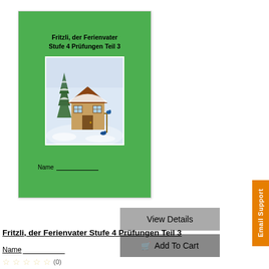[Figure (illustration): Book cover thumbnail with green background showing 'Fritzli, der Ferienvater Stufe 4 Prüfungen Teil 3' title and a winter scene illustration of a snow-covered house with a bird feeder, plus a Name line at the bottom]
View Details
Add To Cart
Fritzli, der Ferienvater Stufe 4 Prüfungen Teil 3
Name__________
☆☆☆☆☆ (0)